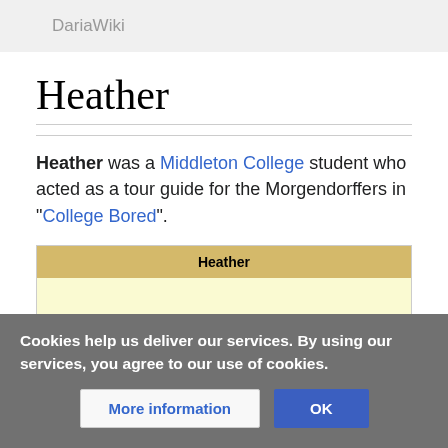DariaWiki
Heather
Heather was a Middleton College student who acted as a tour guide for the Morgendorffers in "College Bored".
| Heather |
| --- |
Cookies help us deliver our services. By using our services, you agree to our use of cookies.